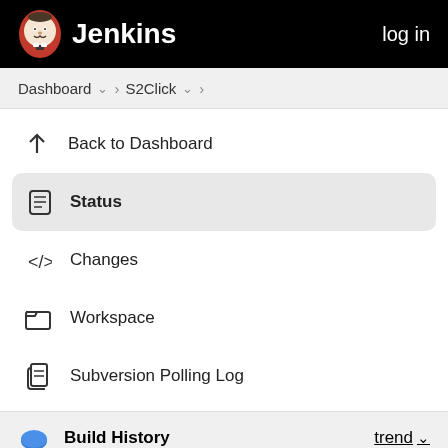Jenkins  log in
Dashboard > S2Click >
↑ Back to Dashboard
Status
</> Changes
Workspace
Subversion Polling Log
Build History  trend
Filter builds...